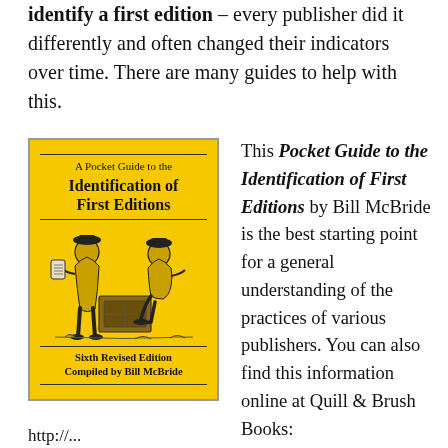identify a first edition – every publisher did it differently and often changed their indicators over time. There are many guides to help with this.
[Figure (illustration): Book cover of 'A Pocket Guide to the Identification of First Editions, Sixth Revised Edition, Compiled by Bill McBride', yellow cover with an illustration of two figures examining a document at a desk.]
This Pocket Guide to the Identification of First Editions by Bill McBride is the best starting point for a general understanding of the practices of various publishers. You can also find this information online at Quill & Brush Books:
http://...